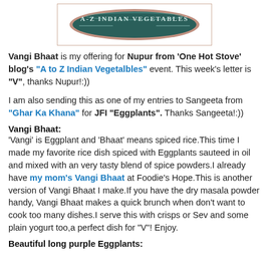[Figure (logo): A-Z Indian Vegetables logo badge with teal/dark green background and white text in an oval/pill shape with decorative border]
Vangi Bhaat is my offering for Nupur from 'One Hot Stove' blog's "A to Z Indian Vegetalbles" event. This week's letter is "V", thanks Nupur!:))
I am also sending this as one of my entries to Sangeeta from "Ghar Ka Khana" for JFI "Eggplants". Thanks Sangeeta!:))
Vangi Bhaat:
'Vangi' is Eggplant and 'Bhaat' means spiced rice.This time I made my favorite rice dish spiced with Eggplants sauteed in oil and mixed with an very tasty blend of spice powders.I already have my mom's Vangi Bhaat at Foodie's Hope.This is another version of Vangi Bhaat I make.If you have the dry masala powder handy, Vangi Bhaat makes a quick brunch when don't want to cook too many dishes.I serve this with crisps or Sev and some plain yogurt too,a perfect dish for "V"! Enjoy.
Beautiful long purple Eggplants: